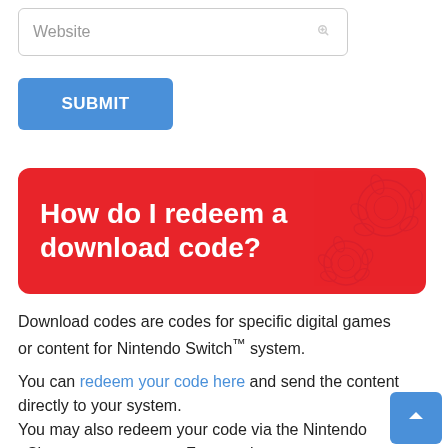[Figure (screenshot): Website input field with placeholder text 'Website' and a small link/chain icon on the right]
[Figure (screenshot): Blue submit button with white bold text 'SUBMIT']
How do I redeem a download code?
Download codes are codes for specific digital games or content for Nintendo Switch™ system.
You can redeem your code here and send the content directly to your system.
You may also redeem your code via the Nintendo eShop on your system. For step-by-step